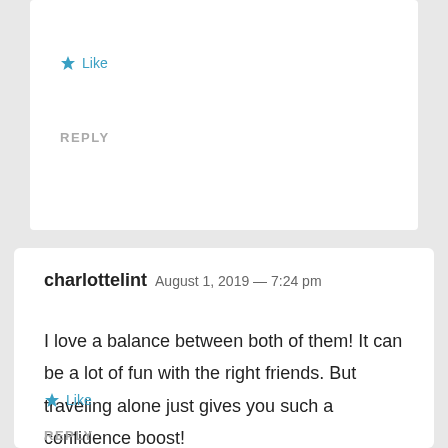Like
REPLY
charlottelint  August 1, 2019 — 7:24 pm
I love a balance between both of them! It can be a lot of fun with the right friends. But traveling alone just gives you such a confidence boost!
Like
REPLY